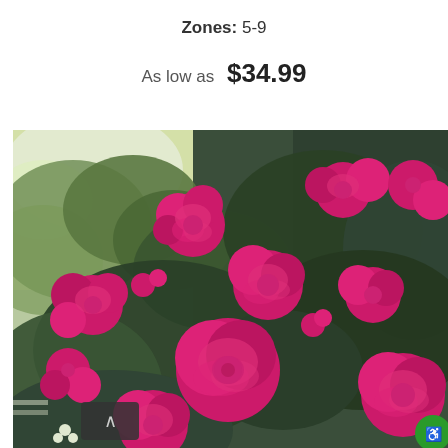Zones: 5-9
As low as  $34.99
[Figure (photo): Photograph of climbing rose bush with abundant hot pink/magenta roses in full bloom, surrounded by dark green foliage and trees in the background. A scroll-up button and accessibility icon are overlaid at the bottom corners.]